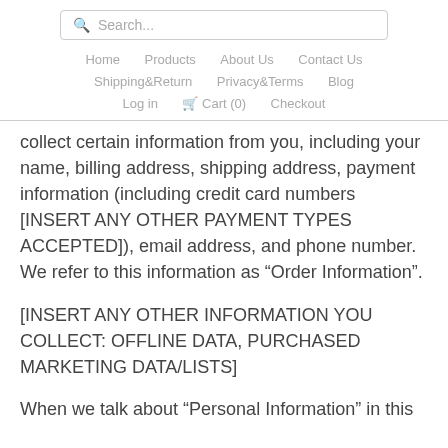Search... | Home | Products | About Us | Contact Us | Shipping&Return | Privacy&Terms | Blog | Log in | Cart (0) | Checkout
collect certain information from you, including your name, billing address, shipping address, payment information (including credit card numbers [INSERT ANY OTHER PAYMENT TYPES ACCEPTED]), email address, and phone number. We refer to this information as “Order Information”.
[INSERT ANY OTHER INFORMATION YOU COLLECT: OFFLINE DATA, PURCHASED MARKETING DATA/LISTS]
When we talk about “Personal Information” in this